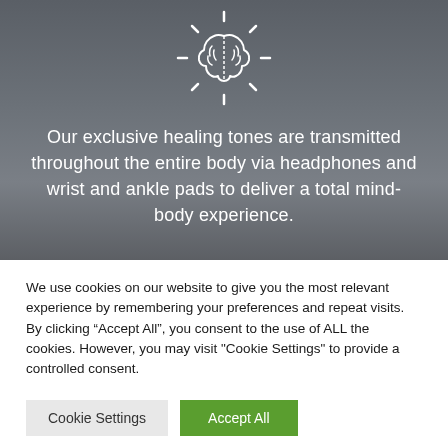[Figure (illustration): White outline brain icon with rays/dashes around it on a dark grey background, resembling a lightbulb-brain hybrid]
Our exclusive healing tones are transmitted throughout the entire body via headphones and wrist and ankle pads to deliver a total mind-body experience.
We use cookies on our website to give you the most relevant experience by remembering your preferences and repeat visits. By clicking “Accept All”, you consent to the use of ALL the cookies. However, you may visit "Cookie Settings" to provide a controlled consent.